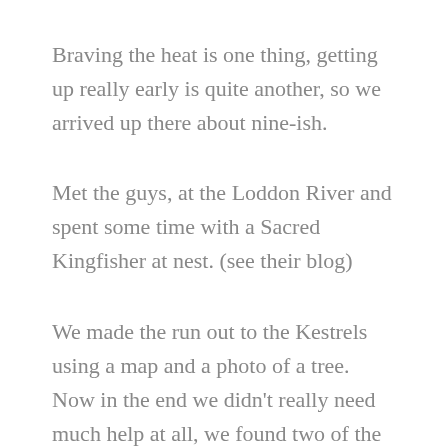Braving the heat is one thing, getting up really early is quite another, so we arrived up there about nine-ish.
Met the guys, at the Loddon River and spent some time with a Sacred Kingfisher at nest. (see their blog)
We made the run out to the Kestrels using a map and a photo of a tree.  Now in the end we didn't really need much help at all, we found two of the young sitting in the shade on the road as we drove down. Having good road sense, (thanks Mum), they quickly took to the